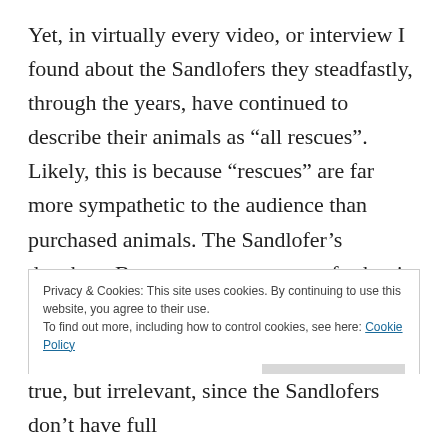Yet, in virtually every video, or interview I found about the Sandlofers they steadfastly, through the years, have continued to describe their animals as “all rescues”. Likely, this is because “rescues” are far more sympathetic to the audience than purchased animals. The Sandlofer’s daughter, Benna, goes even a step further in this 2014 video, not only repeatedly calling all of the animals “wolves” but also stating that a number of them are “wolves” people got as pets, and then became afraid of and couldn’t handle. As none of the Sandlofers animals are fully wolves this is
Privacy & Cookies: This site uses cookies. By continuing to use this website, you agree to their use.
To find out more, including how to control cookies, see here: Cookie Policy
true, but irrelevant, since the Sandlofers don’t have full